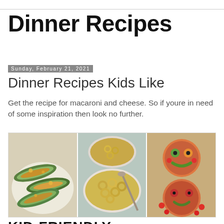Dinner Recipes
Sunday, February 21, 2021
Dinner Recipes Kids Like
Get the recipe for macaroni and cheese. So if youre in need of some inspiration then look no further.
[Figure (photo): Three-panel food photo collage showing: left panel - stuffed zucchini boats with cheese on a white plate; center panel - macaroni and cheese in bowls; right panel - mini pizzas decorated to look like funny faces with vegetable toppings on a wooden board]
KID-FRIENDLY